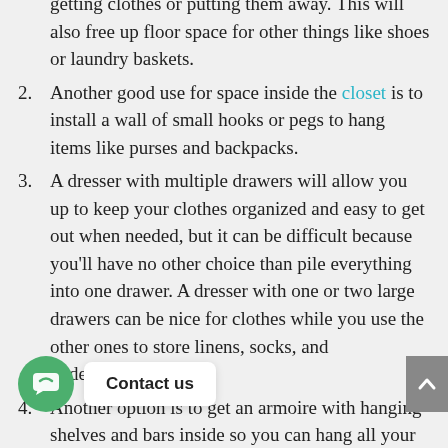getting clothes or putting them away. This will also free up floor space for other things like shoes or laundry baskets.
Another good use for space inside the closet is to install a wall of small hooks or pegs to hang items like purses and backpacks.
A dresser with multiple drawers will allow you up to keep your clothes organized and easy to get out when needed, but it can be difficult because you'll have no other choice than pile everything into one drawer. A dresser with one or two large drawers can be nice for clothes while you use the other ones to store linens, socks, and undergarments.
Another option is to get an armoire with hanging shelves and bars inside so you can hang all your pants. r shirts, use the top shelf for all the shirts while ng art for folded sweaters or other things that won't properly fit on a hanger. This will